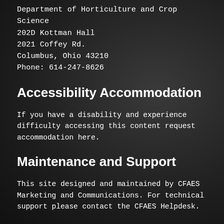Department of Horticulture and Crop Science
202D Kottman Hall
2021 Coffey Rd.
Columbus, Ohio 43210
Phone: 614-247-8626
Accessibility Accommodation
If you have a disability and experience difficulty accessing this content request accommodation here.
Maintenance and Support
This site designed and maintained by CFAES Marketing and Communications. For technical support please contact the CFAES Helpdesk.
CFAES Diversity | Nondiscrimination notice | Site